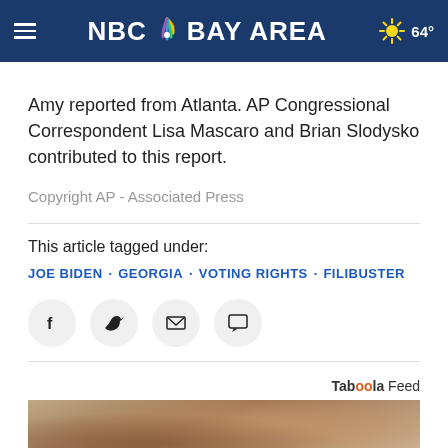NBC Bay Area — ☀ 64°
Amy reported from Atlanta. AP Congressional Correspondent Lisa Mascaro and Brian Slodysko contributed to this report.
Copyright AP - Associated Press
This article tagged under:
JOE BIDEN · GEORGIA · VOTING RIGHTS · FILIBUSTER
[Figure (other): Social sharing icons: Facebook, Twitter, Email, Comment]
[Figure (other): Taboola Feed sponsored content section with a photo of hands shaking]